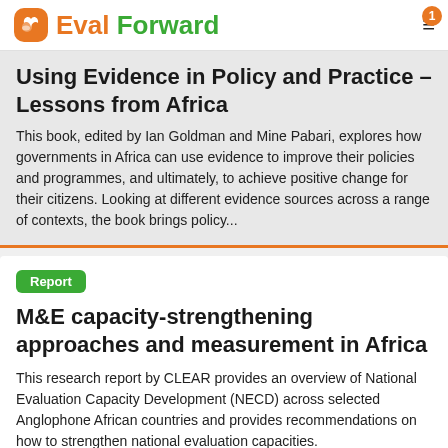Eval Forward
Using Evidence in Policy and Practice – Lessons from Africa
This book, edited by Ian Goldman and Mine Pabari, explores how governments in Africa can use evidence to improve their policies and programmes, and ultimately, to achieve positive change for their citizens. Looking at different evidence sources across a range of contexts, the book brings policy...
Report
M&E capacity-strengthening approaches and measurement in Africa
This research report by CLEAR provides an overview of National Evaluation Capacity Development (NECD) across selected Anglophone African countries and provides recommendations on how to strengthen national evaluation capacities.